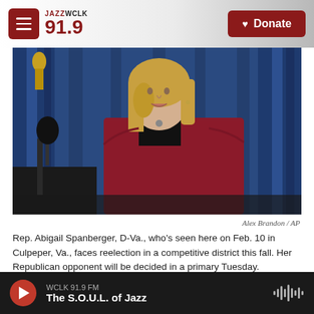JAZZ WCLK 91.9 | Donate
[Figure (photo): Rep. Abigail Spanberger speaking at a podium with a microphone, wearing a red blazer and black top, in front of blue curtains]
Alex Brandon / AP
Rep. Abigail Spanberger, D-Va., who's seen here on Feb. 10 in Culpeper, Va., faces reelection in a competitive district this fall. Her Republican opponent will be decided in a primary Tuesday.
WCLK 91.9 FM — The S.O.U.L. of Jazz